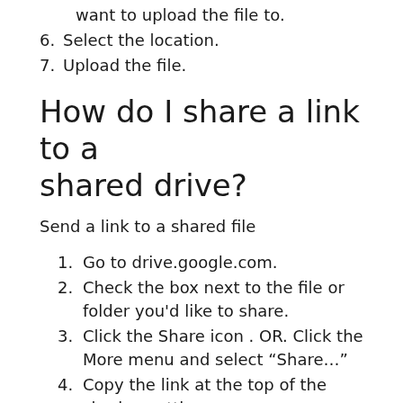want to upload the file to.
6. Select the location.
7. Upload the file.
How do I share a link to a shared drive?
Send a link to a shared file
1. Go to drive.google.com.
2. Check the box next to the file or folder you'd like to share.
3. Click the Share icon . OR. Click the More menu and select “Share…”
4. Copy the link at the top of the sharing settings.
5. Send the link to another person or